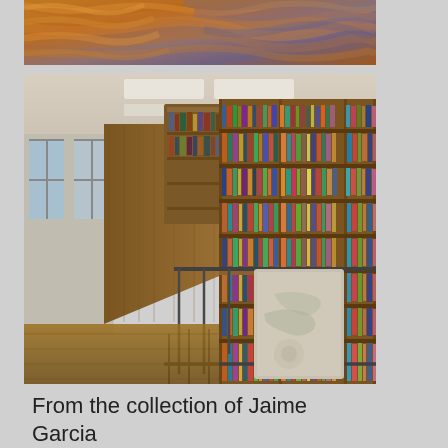[Figure (photo): Close-up photo of textured wool or fiber material in warm orange, brown, and cool purple/gray tones, likely a textile or craft artwork.]
[Figure (photo): Interior view of a multi-level library with wooden bookshelves filled with books, hardwood floors, metal railings on a mezzanine level, and a framed artwork or display panel visible. Natural light comes from windows on the left.]
From the collection of Jaime Garcia Torres